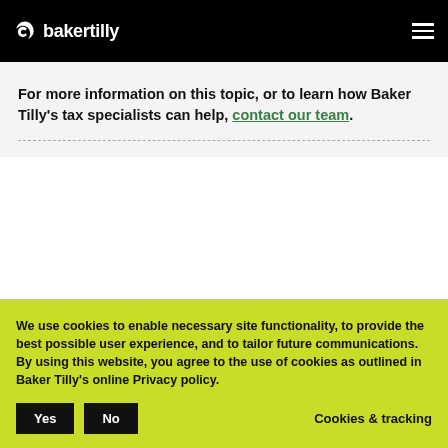bakertilly
For more information on this topic, or to learn how Baker Tilly's tax specialists can help, contact our team.
We use cookies to enable necessary site functionality, to provide the best possible user experience, and to tailor future communications. By using this website, you agree to the use of cookies as outlined in Baker Tilly's online Privacy policy. Yes No Cookies & tracking